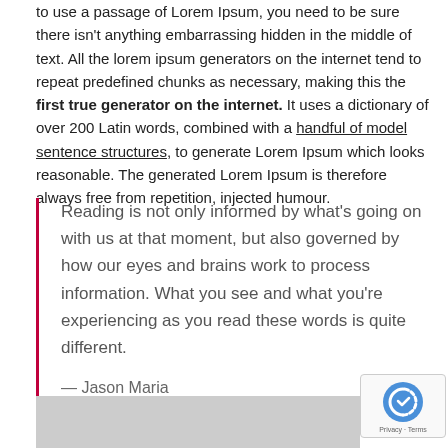to use a passage of Lorem Ipsum, you need to be sure there isn't anything embarrassing hidden in the middle of text. All the lorem ipsum generators on the internet tend to repeat predefined chunks as necessary, making this the first true generator on the internet. It uses a dictionary of over 200 Latin words, combined with a handful of model sentence structures, to generate Lorem Ipsum which looks reasonable. The generated Lorem Ipsum is therefore always free from repetition, injected humour.
Reading is not only informed by what's going on with us at that moment, but also governed by how our eyes and brains work to process information. What you see and what you're experiencing as you read these words is quite different.
— Jason Maria
[Figure (other): Gray banner at bottom of page with reCAPTCHA badge overlay in lower right corner]